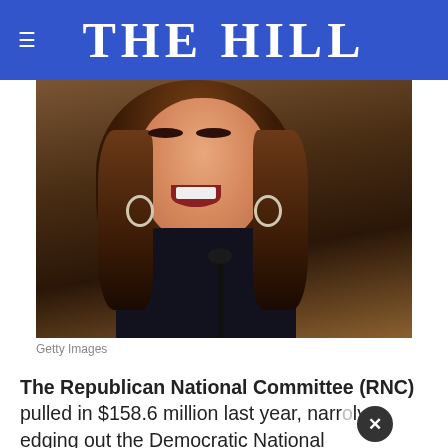THE HILL
[Figure (photo): Woman speaking at a microphone, wearing hoop earrings and dark outfit, brown hair, mouth open as if speaking. Getty Images news photo.]
Getty Images
The Republican National Committee (RNC) pulled in $158.6 million last year, narrowly edging out the Democratic National Committee's (DNC) 2021 fundraising haul.